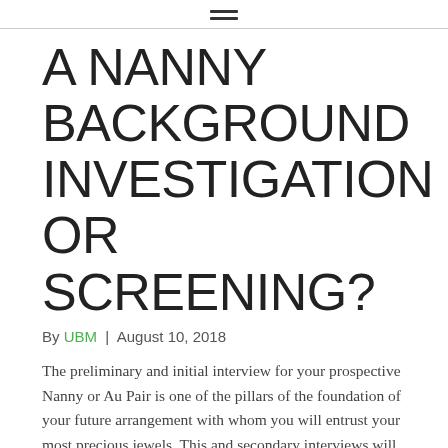≡
A NANNY BACKGROUND INVESTIGATION OR SCREENING?
By UBM | August 10, 2018
The preliminary and initial interview for your prospective Nanny or Au Pair is one of the pillars of the foundation of your future arrangement with whom you will entrust your most precious jewels. This and secondary interviews will establish the framework for expectations and guidance for acceptable operational standards and protocols within your family structure. It